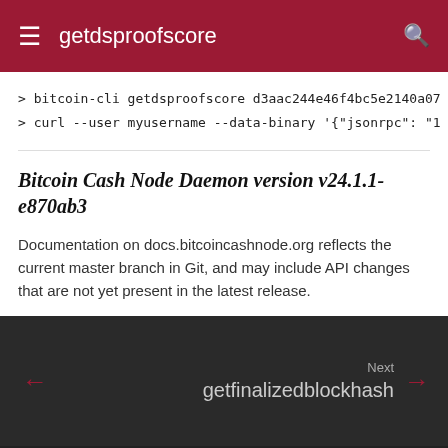getdsproofscore
> bitcoin-cli getdsproofscore d3aac244e46f4bc5e2140a07
> curl --user myusername --data-binary '{"jsonrpc": "1
Bitcoin Cash Node Daemon version v24.1.1-e870ab3
Documentation on docs.bitcoincashnode.org reflects the current master branch in Git, and may include API changes that are not yet present in the latest release.
Next getfinalizedblockhash
Made with Material for MkDocs